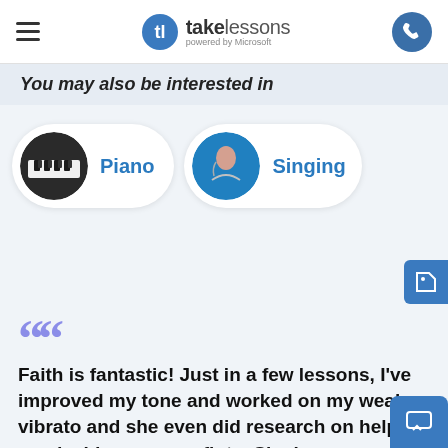[Figure (logo): TakeLessons powered by Microsoft logo with hamburger menu and phone button in header]
You may also be interested in
[Figure (illustration): Piano category card with circular photo of piano keys and blue Piano label]
[Figure (illustration): Singing category card with circular photo of singer and blue Singing label]
[Figure (illustration): Blue chat/tag icon button on right side]
““
Faith is fantastic! Just in a few lessons, I've improved my tone and worked on my weak vibrato and she even did research on helping me decide on a new flute. She is super professional, fun, and knowle
[Figure (illustration): Blue chat widget button at bottom right]